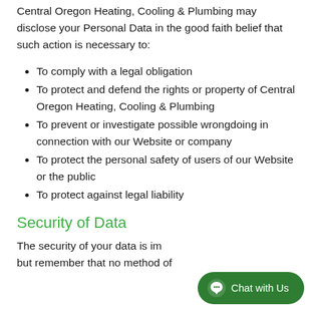Central Oregon Heating, Cooling & Plumbing may disclose your Personal Data in the good faith belief that such action is necessary to:
To comply with a legal obligation
To protect and defend the rights or property of Central Oregon Heating, Cooling & Plumbing
To prevent or investigate possible wrongdoing in connection with our Website or company
To protect the personal safety of users of our Website or the public
To protect against legal liability
Security of Data
The security of your data is im but remember that no method of